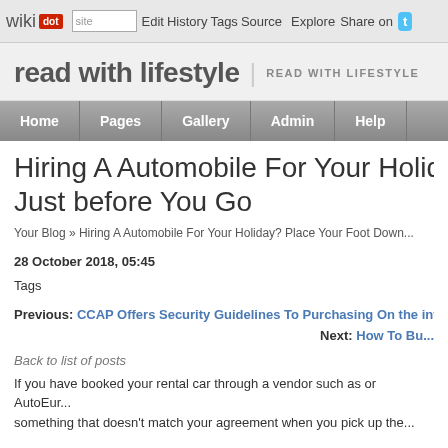wikidot | site Edit History Tags Source Explore Share on
read with lifestyle | READ WITH LIFESTYLE
Home Pages Gallery Admin Help
Hiring A Automobile For Your Holiday? Place Your Foot Down Just before You Go
Your Blog » Hiring A Automobile For Your Holiday? Place Your Foot Down...
28 October 2018, 05:45
Tags
Previous: CCAP Offers Security Guidelines To Purchasing On the int...
Next: How To Bu...
Back to list of posts
If you have booked your rental car through a vendor such as or AutoEur... something that doesn't match your agreement when you pick up the...